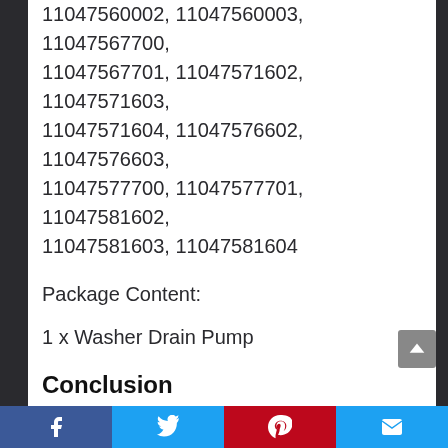11047560002, 11047560003, 11047567700, 11047567701, 11047571602, 11047571603, 11047571604, 11047576602, 11047576603, 11047577700, 11047577701, 11047581602, 11047581603, 11047581604
Package Content:
1 x Washer Drain Pump
Conclusion
By our suggestions above, we hope that you can found Whirlpool Washer Drain Pump for you.Please don't forget to share your